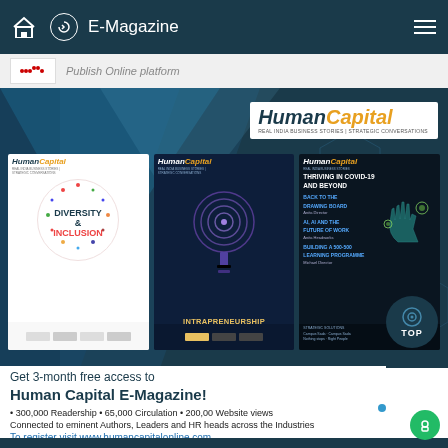E-Magazine
[Figure (illustration): Three Human Capital magazine covers displayed in a dark blue banner with geometric background shapes and the Human Capital logo in the top right]
Get 3-month free access to Human Capital E-Magazine!
• 300,000 Readership  • 65,000 Circulation  • 200,00 Website views
Connected to eminent Authors, Leaders and HR heads across the Industries
To register visit www.humancapitalonline.com
You can also email your Name, Company, Designation, Mobile No. and Email id on info@humancapitalonline.com
"Once registered, the access will be enabled in 24 hours."